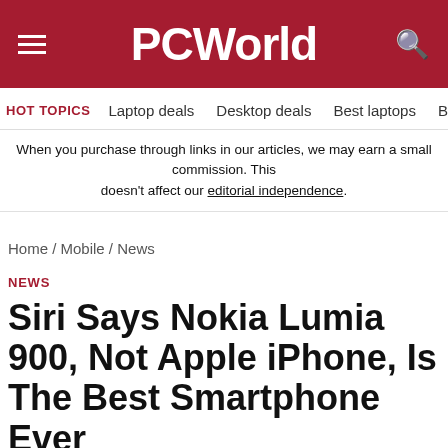PCWorld
HOT TOPICS   Laptop deals   Desktop deals   Best laptops   Best ch
When you purchase through links in our articles, we may earn a small commission. This doesn't affect our editorial independence.
Home / Mobile / News
NEWS
Siri Says Nokia Lumia 900, Not Apple iPhone, Is The Best Smartphone Ever
By Ed Oswald
PCWorld | MAY 11, 2012 2:00 PM PDT